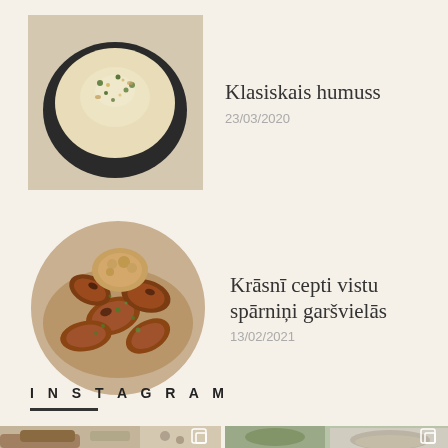[Figure (photo): Round black bowl with hummus topped with olive oil and herbs, viewed from above]
Klasiskais humuss
23/03/2020
[Figure (photo): Circular cropped photo of oven-baked spiced chicken wings on a plate with herbs]
Krāsnī cepti vistu spārniņi garšvielās
13/02/2021
INSTAGRAM
[Figure (photo): Instagram photo showing bread and herbs on wooden surface]
[Figure (photo): Instagram photo showing vegetables and a decorative blue-patterned plate]